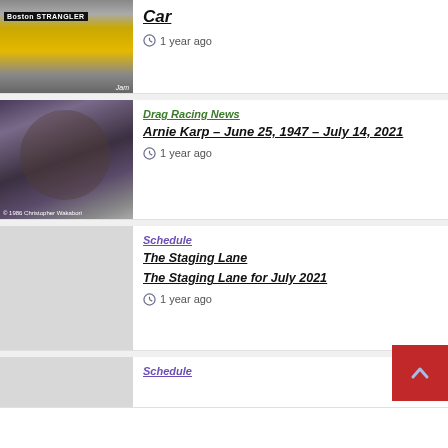[Figure (photo): Partial view of a drag racing car with 'Boston Strangler' banner, yellow/gold paint]
Car
1 year ago
[Figure (photo): Man with beard and sunglasses wearing a dark jacket; photo credit: © 1986 Christopher Wakabori]
Drag Racing News
Arnie Karp – June 25, 1947 – July 14, 2021
1 year ago
[Figure (photo): Gray placeholder image]
Schedule
The Staging Lane
The Staging Lane for July 2021
1 year ago
[Figure (photo): Gray placeholder image]
Schedule